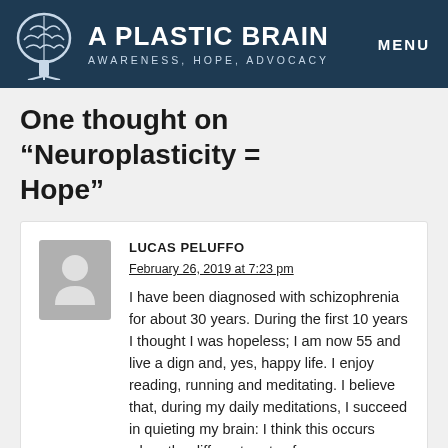[Figure (logo): A Plastic Brain website header with brain/tree logo, site name 'A PLASTIC BRAIN', tagline 'AWARENESS, HOPE, ADVOCACY', and MENU button on dark navy background]
One thought on “Neuroplasticity = Hope”
LUCAS PELUFFO
February 26, 2019 at 7:23 pm

I have been diagnosed with schizophrenia for about 30 years. During the first 10 years I thought I was hopeless; I am now 55 and live a dign and, yes, happy life. I enjoy reading, running and meditating. I believe that, during my daily meditations, I succeed in quieting my brain: I think this occurs when the different parts of my nervous system are in harmony; integration. I hope that, with